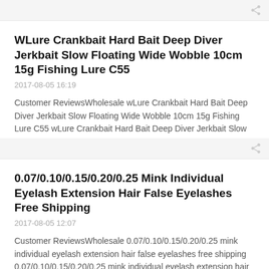WLure Crankbait Hard Bait Deep Diver Jerkbait Slow Floating Wide Wobble 10cm 15g Fishing Lure C55
2017-08-05 16:19
Customer ReviewsWholesale wLure Crankbait Hard Bait Deep Diver Jerkbait Slow Floating Wide Wobble 10cm 15g Fishing Lure C55 wLure Crankbait Hard Bait Deep Diver Jerkbait Slow Floating Wide W… Read More
0.07/0.10/0.15/0.20/0.25 Mink Individual Eyelash Extension Hair False Eyelashes Free Shipping
2017-08-05 12:07
Customer ReviewsWholesale 0.07/0.10/0.15/0.20/0.25 mink individual eyelash extension hair false eyelashes free shipping 0.07/0.10/0.15/0.20/0.25 mink individual eyelash extension hair false… Read More